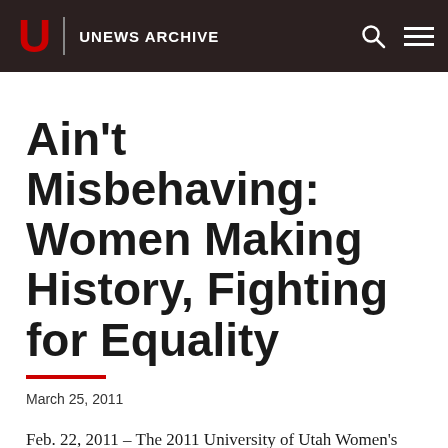U UNEWS ARCHIVE
Ain't Misbehaving: Women Making History, Fighting for Equality
March 25, 2011
Feb. 22, 2011 – The 2011 University of Utah Women's Week celebration will highlight the progress women have made toward equality in the work place.